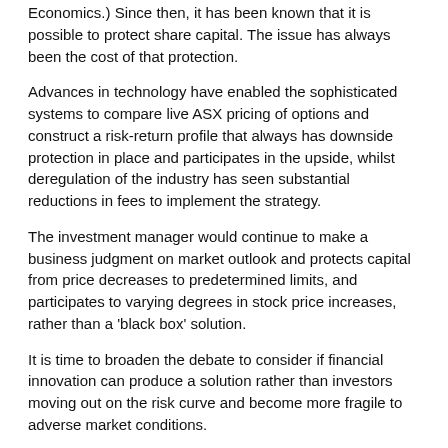Economics.) Since then, it has been known that it is possible to protect share capital. The issue has always been the cost of that protection.
Advances in technology have enabled the sophisticated systems to compare live ASX pricing of options and construct a risk-return profile that always has downside protection in place and participates in the upside, whilst deregulation of the industry has seen substantial reductions in fees to implement the strategy.
The investment manager would continue to make a business judgment on market outlook and protects capital from price decreases to predetermined limits, and participates to varying degrees in stock price increases, rather than a 'black box' solution.
It is time to broaden the debate to consider if financial innovation can produce a solution rather than investors moving out on the risk curve and become more fragile to adverse market conditions.
This would meet the framework that Graham has set out of applying technology to solve big problems (the cost of protection) in an end to end solution for investors seeking peace of mind.